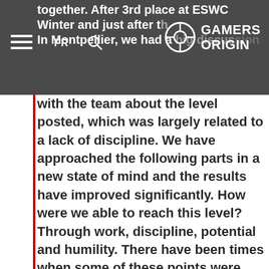together. After 3rd place at ESWC Winter and just after the In Montpellier, we had a big discussion
with the team about the level posted, which was largely related to a lack of discipline. We have approached the following parts in a new state of mind and the results have improved significantly. How were we able to reach this level? Through work, discipline, potential and humility. There have been times when some of these points were missing but our adaptation has led to rather good results; although at this level it is difficult to always win if you forget some of these principles. There is